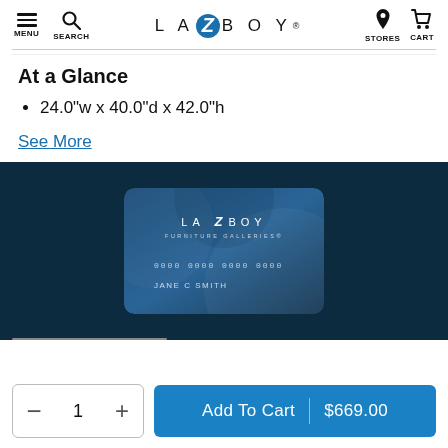LA Z BOY — MENU SEARCH STORES CART navigation bar
At a Glance
24.0"w x 40.0"d x 42.0"h
See More
[Figure (illustration): La-Z-Boy Furniture Galleries credit card promotional banner on dark navy background. Shows a blue textured credit card with La-Z-Boy Furniture Galleries branding, card number placeholder 0000 0000 0000 0000, and cardholder name JANE C SMITH.]
Add To Cart | $669.00